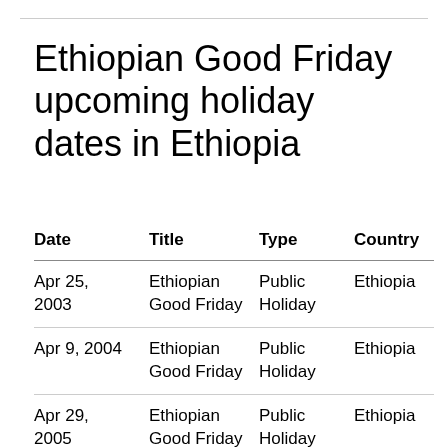Ethiopian Good Friday upcoming holiday dates in Ethiopia
| Date | Title | Type | Country |
| --- | --- | --- | --- |
| Apr 25, 2003 | Ethiopian Good Friday | Public Holiday | Ethiopia |
| Apr 9, 2004 | Ethiopian Good Friday | Public Holiday | Ethiopia |
| Apr 29, 2005 | Ethiopian Good Friday | Public Holiday | Ethiopia |
| Apr 21, … | Ethiopian … | Public … | Ethiopi… |